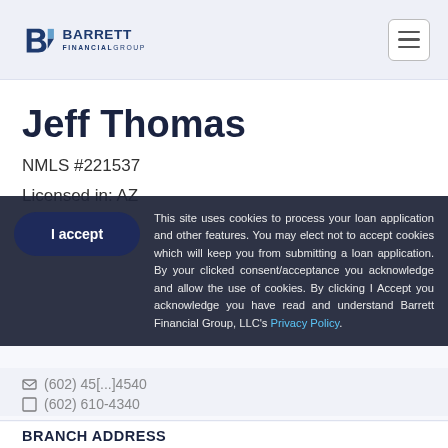[Figure (logo): Barrett Financial Group logo with stylized B icon and company name]
Jeff Thomas
NMLS #221537
Licensed in: AZ
This site uses cookies to process your loan application and other features. You may elect not to accept cookies which will keep you from submitting a loan application. By your clicked consent/acceptance you acknowledge and allow the use of cookies. By clicking I Accept you acknowledge you have read and understand Barrett Financial Group, LLC's Privacy Policy.
BRANCH ADDRESS
2314 S. Val Vista Dr., Suite 201, Gilbert, AZ 85295